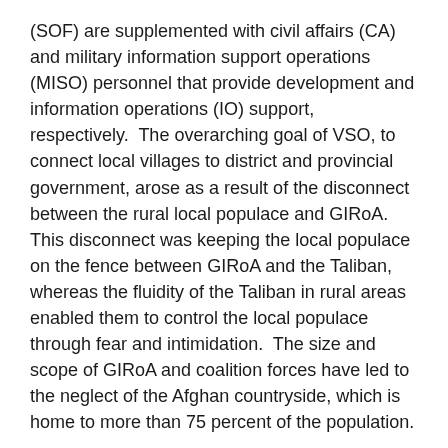(SOF) are supplemented with civil affairs (CA) and military information support operations (MISO) personnel that provide development and information operations (IO) support, respectively.  The overarching goal of VSO, to connect local villages to district and provincial government, arose as a result of the disconnect between the rural local populace and GIRoA.  This disconnect was keeping the local populace on the fence between GIRoA and the Taliban, whereas the fluidity of the Taliban in rural areas enabled them to control the local populace through fear and intimidation.  The size and scope of GIRoA and coalition forces have led to the neglect of the Afghan countryside, which is home to more than 75 percent of the population.
The principles of VSO follow the standard counterinsurgency blueprint: shape/clear, hold, build, and transition.  The shaping phase is intelligence-driven and consists of human terrain mapping, gaining an understanding of local considerations (tribal dynamics,